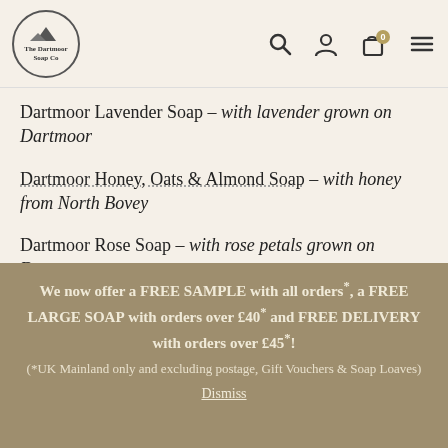The Dartmoor Soap Co — navigation header with logo, search, account, cart, and menu icons
Dartmoor Lavender Soap – with lavender grown on Dartmoor
Dartmoor Honey, Oats & Almond Soap – with honey from North Bovey
Dartmoor Rose Soap – with rose petals grown on Dartmoor
Fig & Honey Soap – with honey from North Bovey
We now offer a FREE SAMPLE with all orders*, a FREE LARGE SOAP with orders over £40* and FREE DELIVERY with orders over £45*! (*UK Mainland only and excluding postage, Gift Vouchers & Soap Loaves) Dismiss